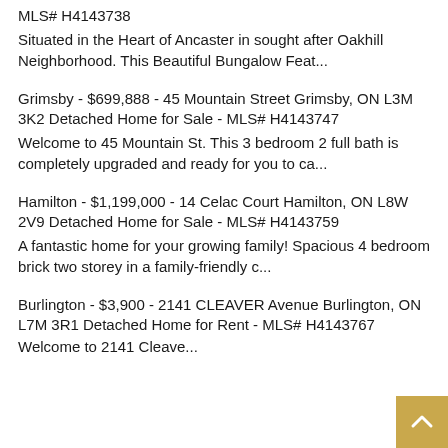MLS# H4143738
Situated in the Heart of Ancaster in sought after Oakhill Neighborhood. This Beautiful Bungalow Feat...
Grimsby - $699,888 - 45 Mountain Street Grimsby, ON L3M 3K2 Detached Home for Sale - MLS# H4143747
Welcome to 45 Mountain St. This 3 bedroom 2 full bath is completely upgraded and ready for you to ca...
Hamilton - $1,199,000 - 14 Celac Court Hamilton, ON L8W 2V9 Detached Home for Sale - MLS# H4143759
A fantastic home for your growing family! Spacious 4 bedroom brick two storey in a family-friendly c...
Burlington - $3,900 - 2141 CLEAVER Avenue Burlington, ON L7M 3R1 Detached Home for Rent - MLS# H4143767
Welcome to 2141 Cleave...